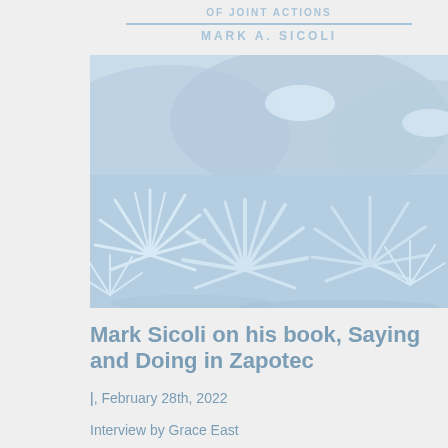[Figure (illustration): Book cover for 'Saying and Doing in Zapotec' by Mark A. Sicoli, featuring a blue-toned landscape illustration with agave plants and mountains, partial view showing the subtitle 'of Joint Actions' and author name.]
Mark Sicoli on his book, Saying and Doing in Zapotec
|, February 28th, 2022
Interview by Grace East